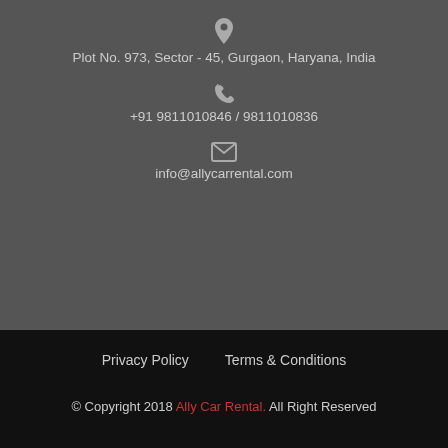Plot No. 973, Sector - 45, Gurgaon, Haryana, India
+91 9811010846 / 9811010836
info@allycarrental.com
Privacy Policy   Terms & Conditions   © Copyright 2018 Ally Car Rental. All Right Reserved